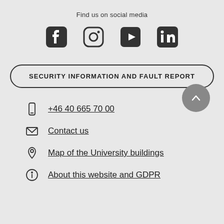Find us on social media
[Figure (illustration): Four social media icons: Facebook, Instagram, YouTube, LinkedIn]
SECURITY INFORMATION AND FAULT REPORT
+46 40 665 70 00
Contact us
Map of the University buildings
About this website and GDPR